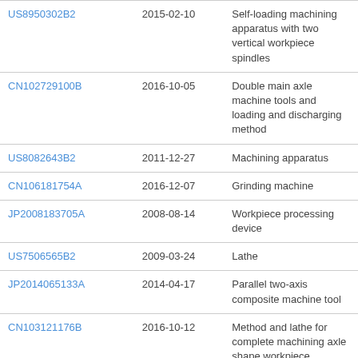| Patent | Date | Title |
| --- | --- | --- |
| US8950302B2 | 2015-02-10 | Self-loading machining apparatus with two vertical workpiece spindles |
| CN102729100B | 2016-10-05 | Double main axle machine tools and loading and discharging method |
| US8082643B2 | 2011-12-27 | Machining apparatus |
| CN106181754A | 2016-12-07 | Grinding machine |
| JP2008183705A | 2008-08-14 | Workpiece processing device |
| US7506565B2 | 2009-03-24 | Lathe |
| JP2014065133A | 2014-04-17 | Parallel two-axis composite machine tool |
| CN103121176B | 2016-10-12 | Method and lathe for complete machining axle shape workpiece |
| JP2009178831A | 2009-08-13 | Loader device |